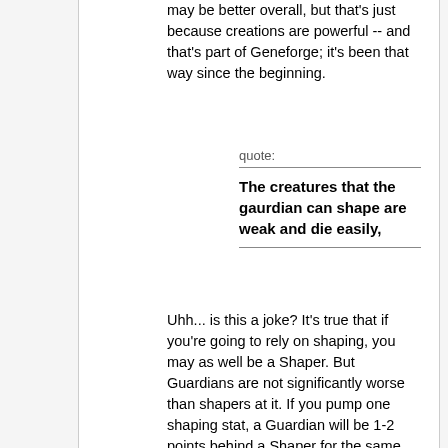may be better overall, but that's just because creations are powerful -- and that's part of Geneforge; it's been that way since the beginning.
quote:
The creatures that the gaurdian can shape are weak and die easily,
Uhh... is this a joke? It's true that if you're going to rely on shaping, you may as well be a Shaper. But Guardians are not significantly worse than shapers at it. If you pump one shaping stat, a Guardian will be 1-2 points behind a Shaper for the same investment of skill points. Since the shaping skills became extremely uneconomical once they get to 10, what this means in practice is just that a Guardian will spend 10 skill points more than a shaper would to make the same creations. If he spends those ten extra skill points, his creations will be EXACTLY THE